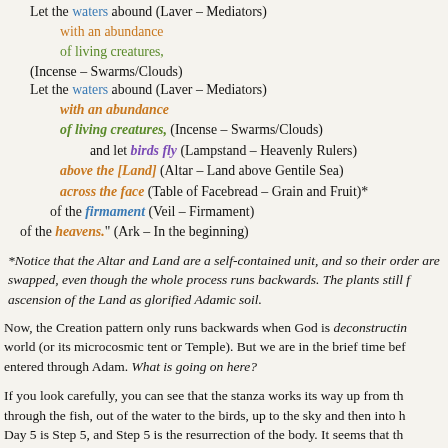Let the waters abound (Laver – Mediators)
with an abundance
of living creatures, (Incense – Swarms/Clouds)
and let birds fly (Lampstand – Heavenly Rulers)
above the [Land] (Altar – Land above Gentile Sea)
across the face (Table of Facebread – Grain and Fruit)*
of the firmament (Veil – Firmament)
of the heavens." (Ark – In the beginning)
*Notice that the Altar and Land are a self-contained unit, and so their order are swapped, even though the whole process runs backwards. The plants still f... ascension of the Land as glorified Adamic soil.
Now, the Creation pattern only runs backwards when God is deconstructing the world (or its microcosmic tent or Temple). But we are in the brief time before sin entered through Adam. What is going on here?
If you look carefully, you can see that the stanza works its way up from the... through the fish, out of the water to the birds, up to the sky and then into h... Day 5 is Step 5, and Step 5 is the resurrection of the body. It seems that the... communicating resurrection as both creating something new, and also a turning back of time.
Step 3 is the Ascension of the Covenant Head to receive the two stone with the Law. Step 5 is those stone Laws written on two tablets of flesh, the Covenant Body as Two Witnesses. The Law is written on resurrected hearts, and un...